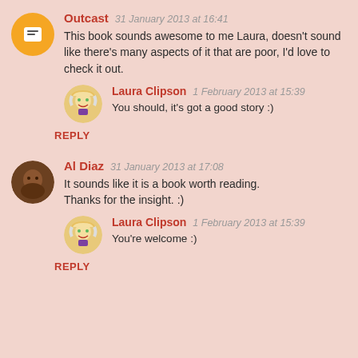Outcast  31 January 2013 at 16:41
This book sounds awesome to me Laura, doesn't sound like there's many aspects of it that are poor, I'd love to check it out.
Laura Clipson  1 February 2013 at 15:39
You should, it's got a good story :)
REPLY
Al Diaz  31 January 2013 at 17:08
It sounds like it is a book worth reading. Thanks for the insight. :)
Laura Clipson  1 February 2013 at 15:39
You're welcome :)
REPLY